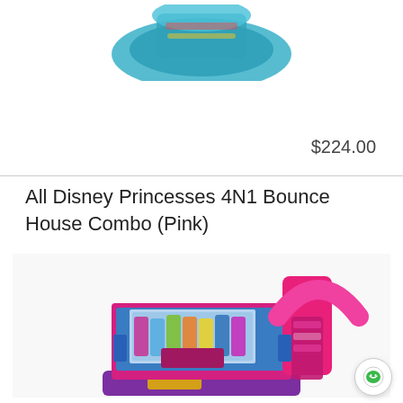[Figure (photo): Partial view of an inflatable bounce house product (top portion only visible), showing teal/blue and colorful elements at the top of the page.]
More Info ...
ADD TO CART
$224.00
All Disney Princesses 4N1 Bounce House Combo (Pink)
[Figure (photo): Pink and blue inflatable bounce house combo featuring Disney Princesses artwork on the front panel, with a pink arch and slide on the right side. Purple base visible at the bottom.]